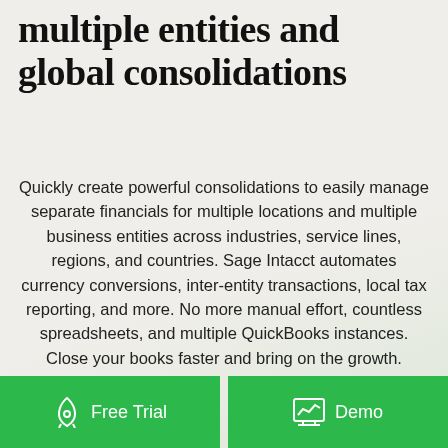multiple entities and global consolidations
Quickly create powerful consolidations to easily manage separate financials for multiple locations and multiple business entities across industries, service lines, regions, and countries. Sage Intacct automates currency conversions, inter-entity transactions, local tax reporting, and more. No more manual effort, countless spreadsheets, and multiple QuickBooks instances. Close your books faster and bring on the growth.
[Figure (other): Two green call-to-action buttons: 'Free Trial' with a rocket icon on the left, and 'Demo' with a chart/graph icon on the right.]